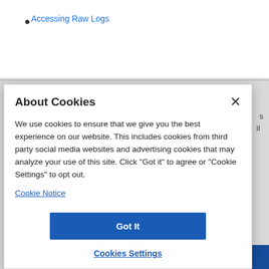Accessing Raw Logs
About Cookies
We use cookies to ensure that we give you the best experience on our website. This includes cookies from third party social media websites and advertising cookies that may analyze your use of this site. Click "Got it" to agree or "Cookie Settings" to opt out.
Cookie Notice
Got It
Cookies Settings